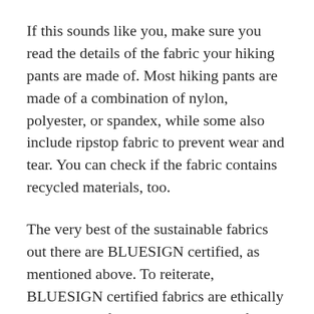If this sounds like you, make sure you read the details of the fabric your hiking pants are made of. Most hiking pants are made of a combination of nylon, polyester, or spandex, while some also include ripstop fabric to prevent wear and tear. You can check if the fabric contains recycled materials, too.
The very best of the sustainable fabrics out there are BLUESIGN certified, as mentioned above. To reiterate, BLUESIGN certified fabrics are ethically made with a focus on workplace safety and consumer protection. If your hiking pants are BLUESIGN certified, it